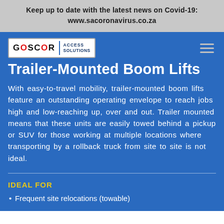Keep up to date with the latest news on Covid-19:
www.sacoronavirus.co.za
[Figure (logo): Goscor Access Solutions logo — white box with GOSCOR text in black/red, vertical blue divider, ACCESS SOLUTIONS text in dark blue]
Trailer-Mounted Boom Lifts
With easy-to-travel mobility, trailer-mounted boom lifts feature an outstanding operating envelope to reach jobs high and low-reaching up, over and out. Trailer mounted means that these units are easily towed behind a pickup or SUV for those working at multiple locations where transporting by a rollback truck from site to site is not ideal.
IDEAL FOR
Frequent site relocations (towable)